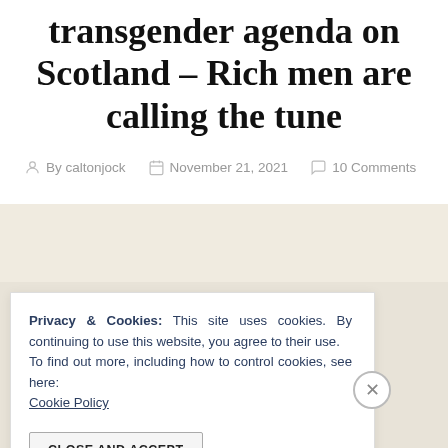transgender agenda on Scotland – Rich men are calling the tune
By caltonjock   November 21, 2021   10 Comments
Privacy & Cookies: This site uses cookies. By continuing to use this website, you agree to their use.
To find out more, including how to control cookies, see here: Cookie Policy
CLOSE AND ACCEPT